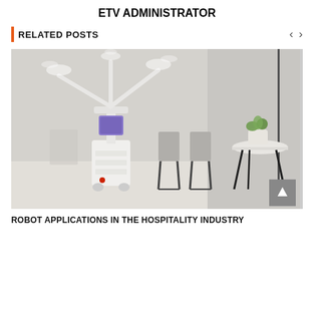ETV ADMINISTRATOR
RELATED POSTS
[Figure (photo): A white sanitizing or service robot with spray nozzles on top, positioned in a light-colored room with grey chairs and a round table with a plant in the background.]
ROBOT APPLICATIONS IN THE HOSPITALITY INDUSTRY